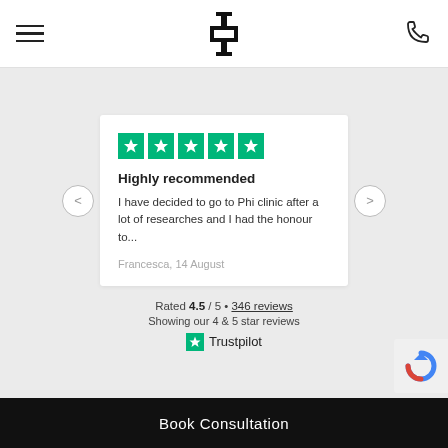Phi Clinic navigation header with hamburger menu, logo, and phone icon
[Figure (screenshot): Trustpilot review card showing 5 green stars, title 'Highly recommended', review text 'I have decided to go to Phi clinic after a lot of researches and I had the honour to...', author 'Francesca, 14 August']
Rated 4.5 / 5 • 346 reviews
Showing our 4 & 5 star reviews
[Figure (logo): Trustpilot logo with green star]
Book Consultation